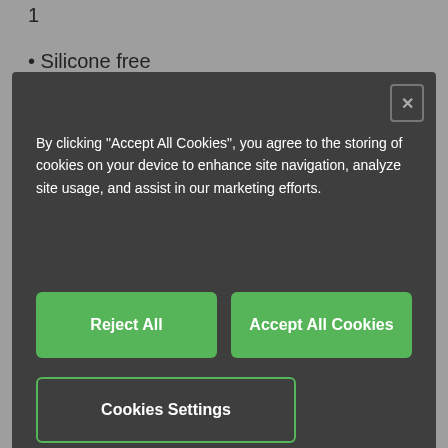1
Silicone free
By clicking “Accept All Cookies”, you agree to the storing of cookies on your device to enhance site navigation, analyze site usage, and assist in our marketing efforts.
[Figure (screenshot): Cookie consent modal dialog with dark background containing text about cookie policy and three buttons: Reject All, Accept All Cookies, and Cookies Settings]
Manufacturer Part No
413410 (10 m)
Cable type
Basic cable